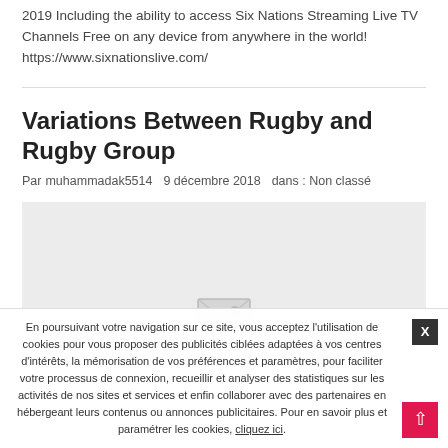2019 Including the ability to access Six Nations Streaming Live TV Channels Free on any device from anywhere in the world! https://www.sixnationslive.com/
Variations Between Rugby and Rugby Group
Par muhammadak5514   9 décembre 2018   dans : Non classé
[Figure (photo): Light grey image placeholder with a broken image icon]
En poursuivant votre navigation sur ce site, vous acceptez l'utilisation de cookies pour vous proposer des publicités ciblées adaptées à vos centres d'intérêts, la mémorisation de vos préférences et paramètres, pour faciliter votre processus de connexion, recueillir et analyser des statistiques sur les activités de nos sites et services et enfin collaborer avec des partenaires en hébergeant leurs contenus ou annonces publicitaires. Pour en savoir plus et paramétrer les cookies, cliquez ici.